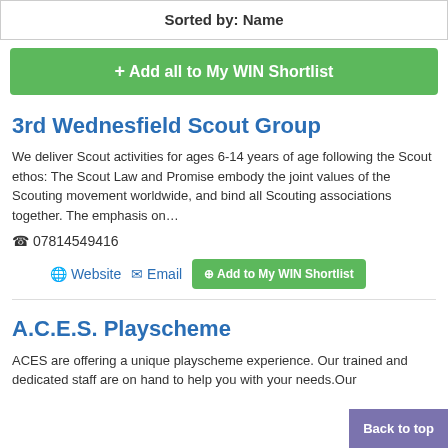Sorted by: Name
+ Add all to My WIN Shortlist
3rd Wednesfield Scout Group
We deliver Scout activities for ages 6-14 years of age following the Scout ethos: The Scout Law and Promise embody the joint values of the Scouting movement worldwide, and bind all Scouting associations together. The emphasis on…
07814549416
Website  Email  Add to My WIN Shortlist
A.C.E.S. Playscheme
ACES are offering a unique playscheme experience. Our trained and dedicated staff are on hand to help you with your needs.Our
Back to top